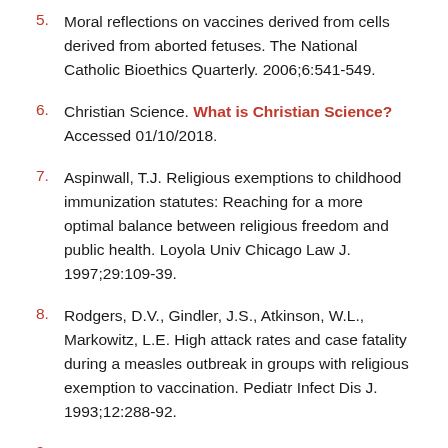5. Moral reflections on vaccines derived from cells derived from aborted fetuses. The National Catholic Bioethics Quarterly. 2006;6:541-549.
6. Christian Science. What is Christian Science? Accessed 01/10/2018.
7. Aspinwall, T.J. Religious exemptions to childhood immunization statutes: Reaching for a more optimal balance between religious freedom and public health. Loyola Univ Chicago Law J. 1997;29:109-39.
8. Rodgers, D.V., Gindler, J.S., Atkinson, W.L., Markowitz, L.E. High attack rates and case fatality during a measles outbreak in groups with religious exemption to vaccination. Pediatr Infect Dis J. 1993;12:288-92.
9. Outbreak of measles among Christian Science